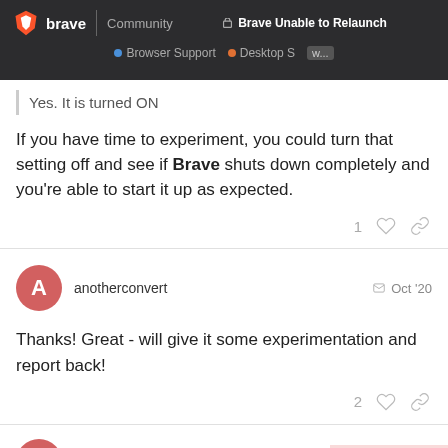Brave Unable to Relaunch | Browser Support | Desktop Support | Brave Community
Yes. It is turned ON
If you have time to experiment, you could turn that setting off and see if Brave shuts down completely and you're able to start it up as expected.
anotherconvert  Oct '20
Thanks! Great - will give it some experimentation and report back!
anotherconvert
7 / 15